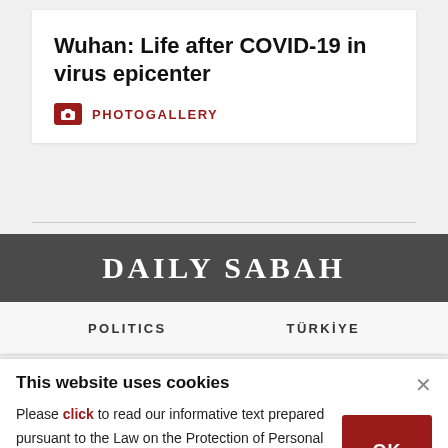Wuhan: Life after COVID-19 in virus epicenter
PHOTOGALLERY
DAILY SABAH
POLITICS    TÜRKİYE
This website uses cookies
Please click to read our informative text prepared pursuant to the Law on the Protection of Personal Data No. 6698 and to get information about the cookies used on our